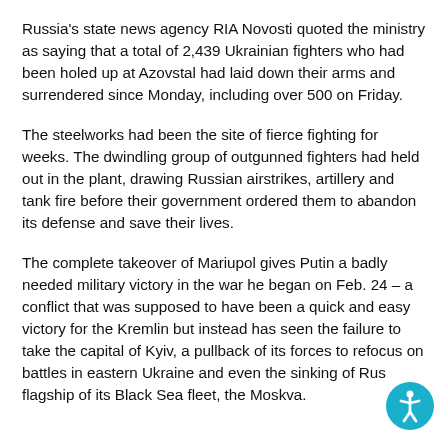Russia's state news agency RIA Novosti quoted the ministry as saying that a total of 2,439 Ukrainian fighters who had been holed up at Azovstal had laid down their arms and surrendered since Monday, including over 500 on Friday.
The steelworks had been the site of fierce fighting for weeks. The dwindling group of outgunned fighters had held out in the plant, drawing Russian airstrikes, artillery and tank fire before their government ordered them to abandon its defense and save their lives.
The complete takeover of Mariupol gives Putin a badly needed military victory in the war he began on Feb. 24 – a conflict that was supposed to have been a quick and easy victory for the Kremlin but instead has seen the failure to take the capital of Kyiv, a pullback of its forces to refocus on battles in eastern Ukraine and even the sinking of Russia's flagship of its Black Sea fleet, the Moskva.
[Figure (illustration): Accessibility icon button — a circular teal/cyan button with a white stick figure person (accessibility symbol) in the center, positioned in the bottom-right corner of the page.]